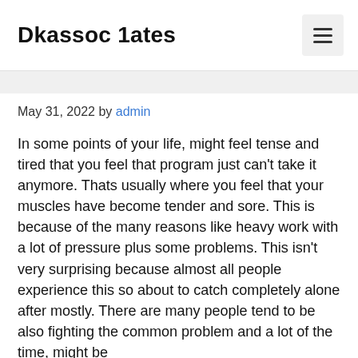Dkassoc 1ates
May 31, 2022 by admin
In some points of your life, might feel tense and tired that you feel that program just can't take it anymore. Thats usually where you feel that your muscles have become tender and sore. This is because of the many reasons like heavy work with a lot of pressure plus some problems. This isn't very surprising because almost all people experience this so about to catch completely alone after mostly. There are many people tend to be also fighting the common problem and a lot of the time, might be